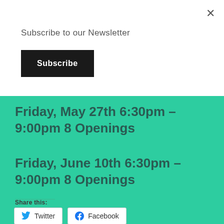Subscribe to our Newsletter
Subscribe
Friday, May 27th 6:30pm – 9:00pm 8 Openings
Friday, June 10th 6:30pm – 9:00pm 8 Openings
Share this:
Twitter
Facebook